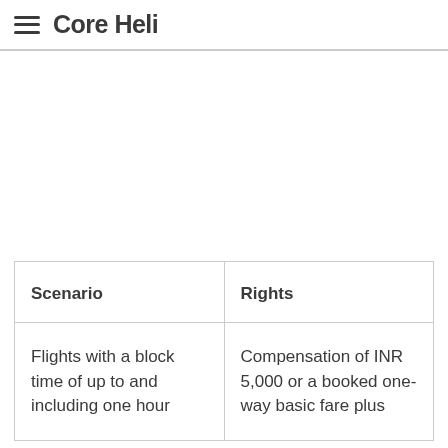Core Heli
| Scenario | Rights |
| --- | --- |
| Flights with a block time of up to and including one hour | Compensation of INR 5,000 or a booked one-way basic fare plus |